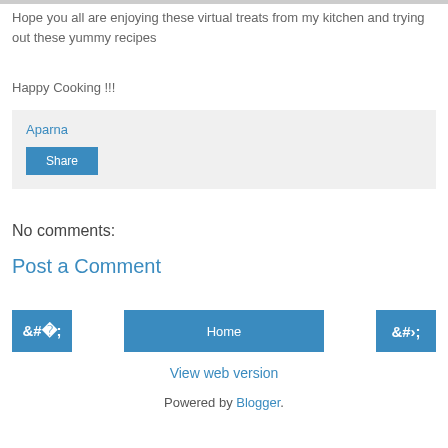Hope you all are enjoying these virtual treats from my kitchen and trying out these yummy recipes
Happy Cooking !!!
Aparna
Share
No comments:
Post a Comment
‹
Home
›
View web version
Powered by Blogger.